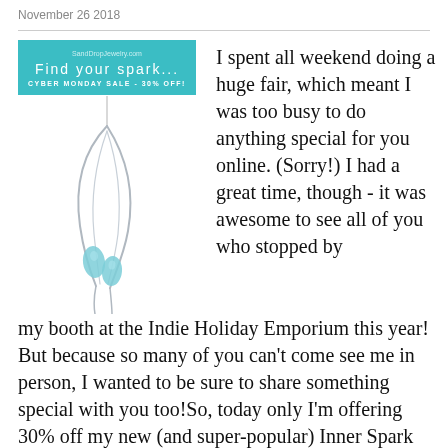November 26 2018
[Figure (illustration): Advertisement banner for SandDropJewelry.com with teal background reading 'Find your spark...' and 'CYBER MONDAY SALE - 30% OFF!' followed by a product photo of a silver asymmetric pendant necklace with two light blue teardrop stones]
I spent all weekend doing a huge fair, which meant I was too busy to do anything special for you online. (Sorry!)  I had a great time, though - it was awesome to see all of you who stopped by my booth at the Indie Holiday Emporium this year!  But because so many of you can't come see me in person, I wanted to be sure to share something special with you too!So, today only I'm offering 30% off my new (and super-popular) Inner Spark Pendant! Gentle curves of asymmetric silver frame a